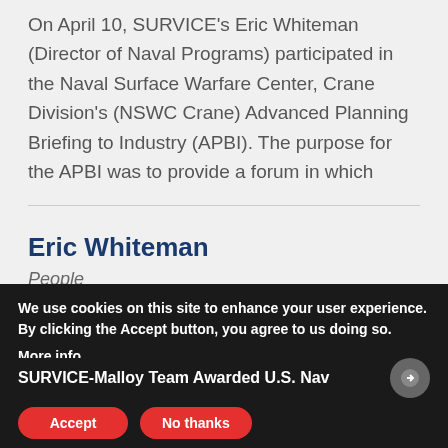On April 10, SURVICE's Eric Whiteman (Director of Naval Programs) participated in the Naval Surface Warfare Center, Crane Division's (NSWC Crane) Advanced Planning Briefing to Industry (APBI). The purpose for the APBI was to provide a forum in which
Eric Whiteman
People
Director of Naval Programs
We use cookies on this site to enhance your user experience. By clicking the Accept button, you agree to us doing so.
More info
SURVICE-Malloy Team Awarded U.S. Nav...